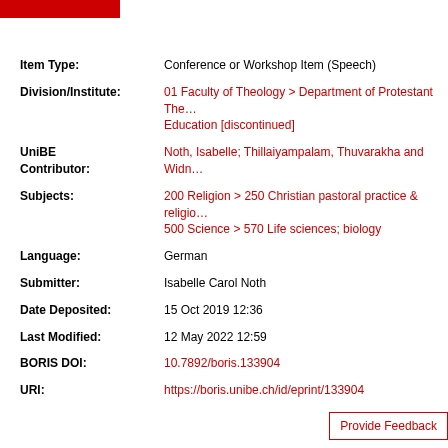| Item Type: | Conference or Workshop Item (Speech) |
| Division/Institute: | 01 Faculty of Theology > Department of Protestant The… Education [discontinued] |
| UniBE Contributor: | Noth, Isabelle; Thillaiyampalam, Thuvarakha and Widn… |
| Subjects: | 200 Religion > 250 Christian pastoral practice & religio… 500 Science > 570 Life sciences; biology |
| Language: | German |
| Submitter: | Isabelle Carol Noth |
| Date Deposited: | 15 Oct 2019 12:36 |
| Last Modified: | 12 May 2022 12:59 |
| BORIS DOI: | 10.7892/boris.133904 |
| URI: | https://boris.unibe.ch/id/eprint/133904 |
Provide Feedback